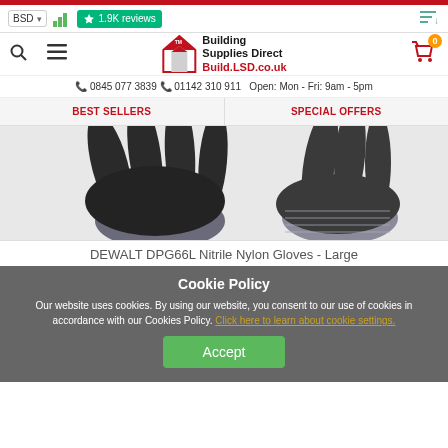Building Supplies Direct - Build.LSD.co.uk - BSD - 1.9K reviews
0845 077 3839  01142 310 911  Open: Mon - Fri: 9am - 5pm
BEST SELLERS  SPECIAL OFFERS
[Figure (photo): DEWALT DPG66L Nitrile Nylon Gloves in dark grey/black, showing palm and back of glove]
DEWALT DPG66L Nitrile Nylon Gloves - Large
Cookie Policy
Our website uses cookies. By using our website, you consent to our use of cookies in accordance with our Cookies Policy. Click here to learn about cookie settings.
Accept